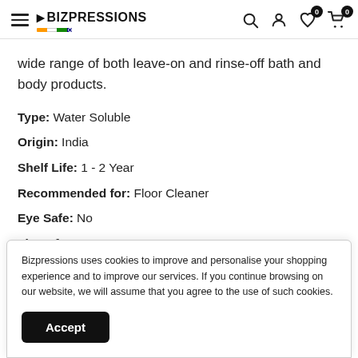BIZPRESSIONS — navigation header with hamburger menu, logo, search, account, wishlist (0), cart (0)
wide range of both leave-on and rinse-off bath and body products.
Type: Water Soluble
Origin: India
Shelf Life: 1 - 2 Year
Recommended for: Floor Cleaner
Eye Safe: No
Lip Safe: No
Bizpressions uses cookies to improve and personalise your shopping experience and to improve our services. If you continue browsing on our website, we will assume that you agree to the use of such cookies. Accept